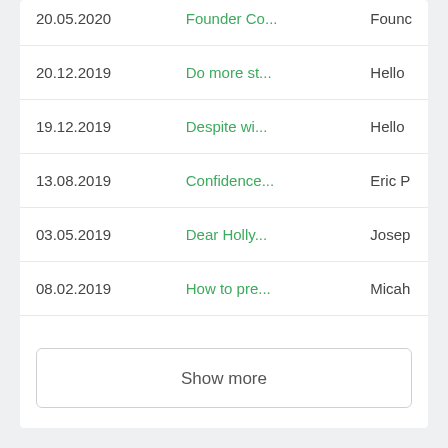| Date | Subject | Sender |
| --- | --- | --- |
| 20.05.2020 | Founder Co... | Founc |
| 20.12.2019 | Do more st... | Hello |
| 19.12.2019 | Despite wi... | Hello |
| 13.08.2019 | Confidence... | Eric P |
| 03.05.2019 | Dear Holly... | Josep |
| 08.02.2019 | How to pre... | Micah |
Show more